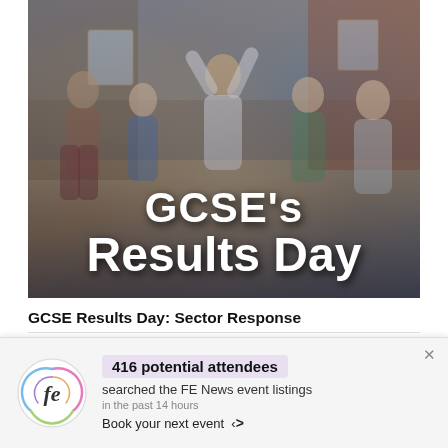[Figure (photo): Students celebrating GCSE Results Day. Multiple young people standing/jumping outdoors in front of a brick building. White bold text overlay reads: GCSE's Results Day]
GCSE Results Day: Sector Response
We use cookies on our website to give you the most relevant experience by remembering your preferences and repeat visits. By clicking “Accept”, you consent to
416 potential attendees searched the FE News event listings in the past 14 hours Book your next event >